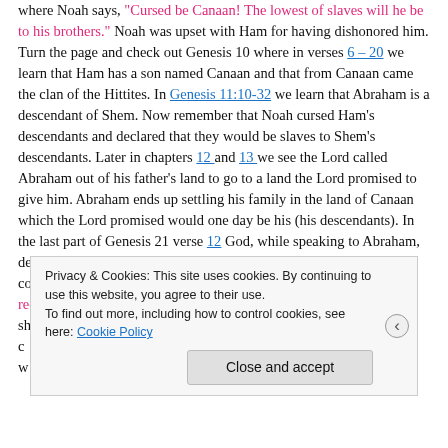where Noah says, "Cursed be Canaan! The lowest of slaves will he be to his brothers." Noah was upset with Ham for having dishonored him. Turn the page and check out Genesis 10 where in verses 6 – 20 we learn that Ham has a son named Canaan and that from Canaan came the clan of the Hittites. In Genesis 11:10-32 we learn that Abraham is a descendant of Shem. Now remember that Noah cursed Ham's descendants and declared that they would be slaves to Shem's descendants. Later in chapters 12 and 13 we see the Lord called Abraham out of his father's land to go to a land the Lord promised to give him. Abraham ends up settling his family in the land of Canaan which the Lord promised would one day be his (his descendants). In the last part of Genesis 21 verse 12 God, while speaking to Abraham, declares that Isaac is the son through which his nations will be counted. "…because it is through Isaac that your offspring will be reckoned." To help clarify the point I've been leading up to I want to share this line from Matthew Henry's Concise Commentary, "The c... w...
Privacy & Cookies: This site uses cookies. By continuing to use this website, you agree to their use. To find out more, including how to control cookies, see here: Cookie Policy